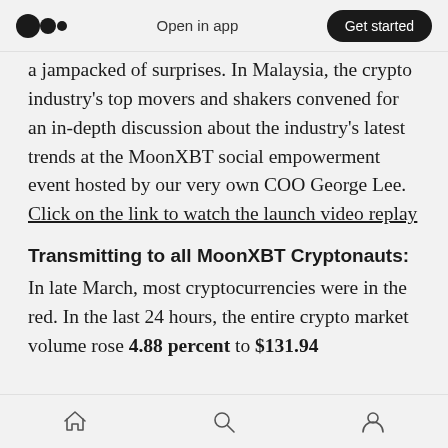Open in app | Get started
a jampacked of surprises. In Malaysia, the crypto industry's top movers and shakers convened for an in-depth discussion about the industry's latest trends at the MoonXBT social empowerment event hosted by our very own COO George Lee. Click on the link to watch the launch video replay
Transmitting to all MoonXBT Cryptonauts:
In late March, most cryptocurrencies were in the red. In the last 24 hours, the entire crypto market volume rose 4.88 percent to $131.94
Home | Search | Profile